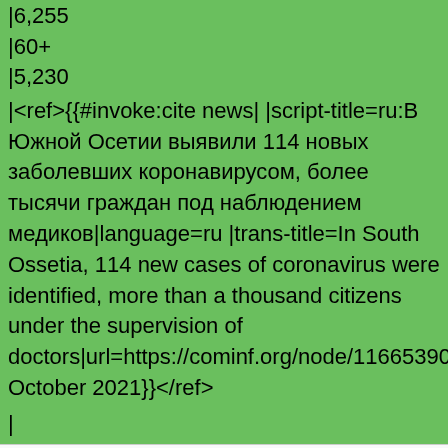|6,255
|60+
|5,230
|<ref>{{#invoke:cite news| |script-title=ru:В Южной Осетии выявили 114 новых заболевших коронавирусом, более тысячи граждан под наблюдением медиков|language=ru |trans-title=In South Ossetia, 114 new cases of coronavirus were identified, more than a thousand citizens under the supervision of doctors|url=https://cominf.org/node/1166539085|work=RES|date=2 October 2021}}</ref>
|
AswnBot
oooooooooooo
1,32,020
ooooooooooo